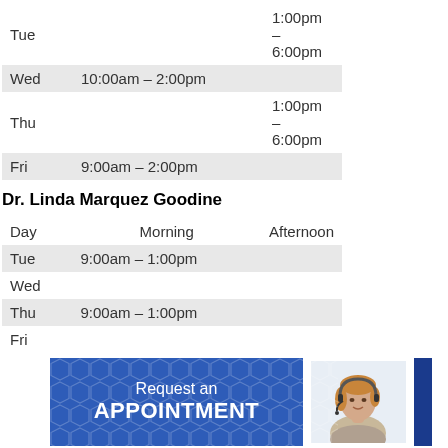| Day | Morning | Afternoon |
| --- | --- | --- |
| Tue |  | 1:00pm – 6:00pm |
| Wed | 10:00am – 2:00pm |  |
| Thu |  | 1:00pm – 6:00pm |
| Fri | 9:00am – 2:00pm |  |
Dr. Linda Marquez Goodine
| Day | Morning | Afternoon |
| --- | --- | --- |
| Tue | 9:00am – 1:00pm |  |
| Wed |  |  |
| Thu | 9:00am – 1:00pm |  |
| Fri |  |  |
[Figure (infographic): Blue banner with text 'Request an APPOINTMENT' and a photo of a woman wearing a headset, with a dark blue sidebar on the right]